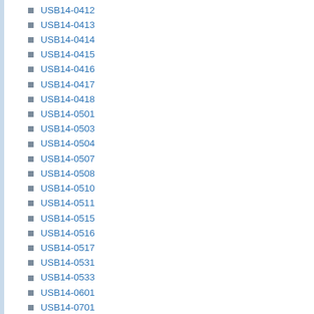USB14-0412
USB14-0413
USB14-0414
USB14-0415
USB14-0416
USB14-0417
USB14-0418
USB14-0501
USB14-0503
USB14-0504
USB14-0507
USB14-0508
USB14-0510
USB14-0511
USB14-0515
USB14-0516
USB14-0517
USB14-0531
USB14-0533
USB14-0601
USB14-0701
USB14-0702
USB14-0703
USB14-0704
USB14-0705
USB14-0706
USB14-0707